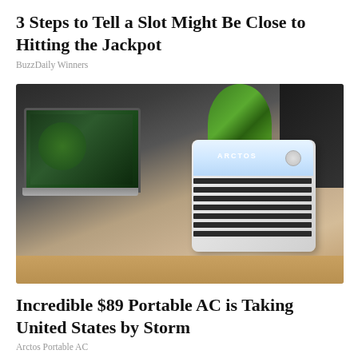3 Steps to Tell a Slot Might Be Close to Hitting the Jackpot
BuzzDaily Winners
[Figure (photo): Photo of an Arctos portable AC unit on a wooden desk next to a laptop, with a green plant in the background]
Incredible $89 Portable AC is Taking United States by Storm
Arctos Portable AC